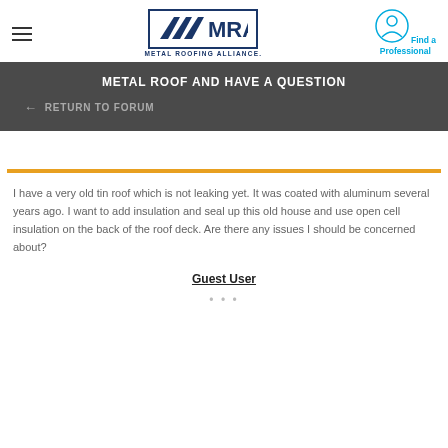Metal Roofing Alliance — Find a Professional
METAL ROOF AND HAVE A QUESTION
← RETURN TO FORUM
I have a very old tin roof which is not leaking yet. It was coated with aluminum several years ago. I want to add insulation and seal up this old house and use open cell insulation on the back of the roof deck. Are there any issues I should be concerned about?
Guest User